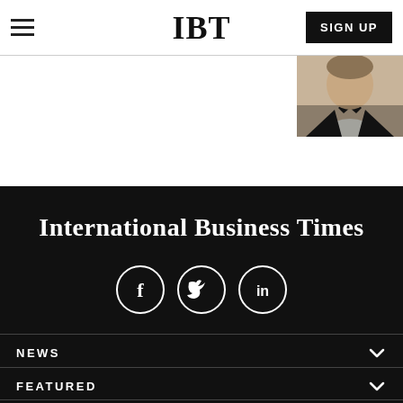IBT  SIGN UP
[Figure (photo): Partial photo of a person in formal/tuxedo attire, visible in top right corner]
International Business Times
[Figure (infographic): Three circular social media icons: Facebook (f), Twitter (bird), LinkedIn (in)]
NEWS
FEATURED